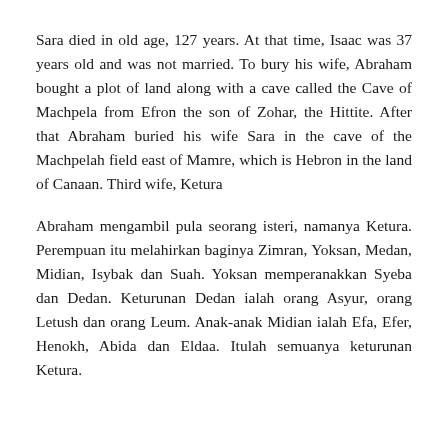Sara died in old age, 127 years. At that time, Isaac was 37 years old and was not married. To bury his wife, Abraham bought a plot of land along with a cave called the Cave of Machpela from Efron the son of Zohar, the Hittite. After that Abraham buried his wife Sara in the cave of the Machpelah field east of Mamre, which is Hebron in the land of Canaan. Third wife, Ketura
Abraham mengambil pula seorang isteri, namanya Ketura. Perempuan itu melahirkan baginya Zimran, Yoksan, Medan, Midian, Isybak dan Suah. Yoksan memperanakkan Syeba dan Dedan. Keturunan Dedan ialah orang Asyur, orang Letush dan orang Leum. Anak-anak Midian ialah Efa, Efer, Henokh, Abida dan Eldaa. Itulah semuanya keturunan Ketura.